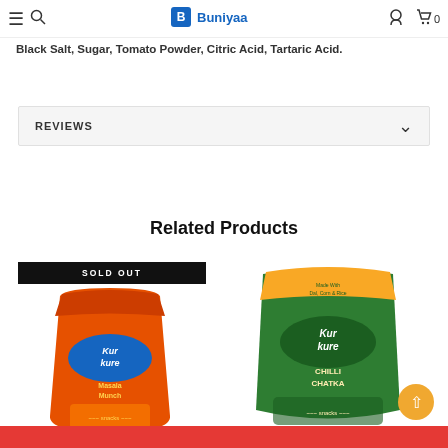Buniyaa
Powder, Dry Mango Powder, Coriander Ginger Powder, Soya Powder, Black Pepper Powder, Turmeric Powder, Cumin, Salt, Black Salt, Sugar, Tomato Powder, Citric Acid, Tartaric Acid.
REVIEWS
Related Products
[Figure (photo): Kurkure Masala Munch snack packet (orange colored bag) with SOLD OUT banner]
[Figure (photo): Kurkure Chilli Chatka snack packet (green colored bag)]